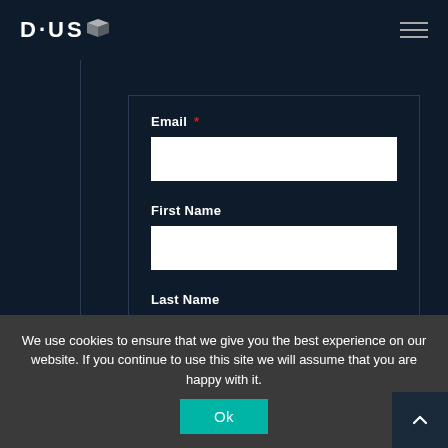DIUS (logo with icon) — navigation hamburger menu
[Figure (screenshot): Web form with fields: Email (required), First Name, Last Name. Dark navy background with white input boxes inside a bordered container.]
Email *
First Name
Last Name
We use cookies to ensure that we give you the best experience on our website. If you continue to use this site we will assume that you are happy with it.
Ok